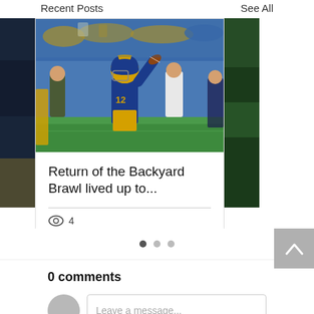Recent Posts   See All
[Figure (photo): Football action photo: Pittsburgh Panthers player #12 in blue and gold uniform celebrating or running, crowd in background]
Return of the Backyard Brawl lived up to...
4
0 comments
Leave a message...